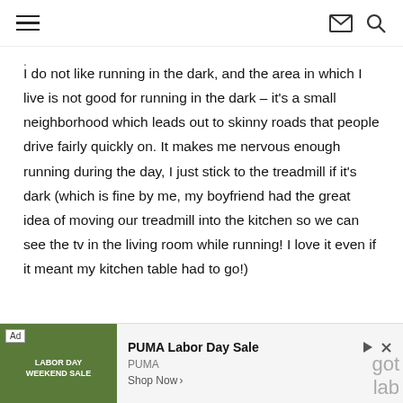≡  ✉ 🔍
I do not like running in the dark, and the area in which I live is not good for running in the dark – it's a small neighborhood which leads out to skinny roads that people drive fairly quickly on. It makes me nervous enough running during the day, I just stick to the treadmill if it's dark (which is fine by me, my boyfriend had the great idea of moving our treadmill into the kitchen so we can see the tv in the living room while running! I love it even if it meant my kitchen table had to go!)
[Figure (other): Ad banner: PUMA Labor Day Sale advertisement with image of a person in athletic gear, 'Ad' label, 'PUMA Labor Day Sale' title, 'PUMA' brand, 'Shop Now >' link, and play/close icons.]